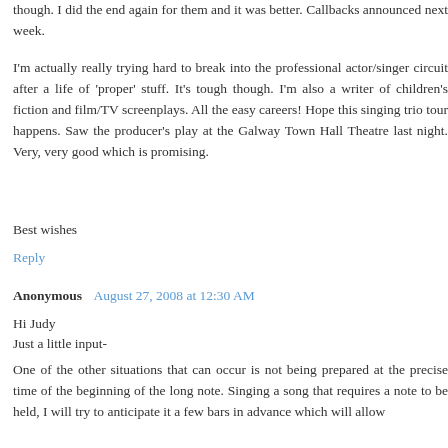though. I did the end again for them and it was better. Callbacks announced next week.
I'm actually really trying hard to break into the professional actor/singer circuit after a life of 'proper' stuff. It's tough though. I'm also a writer of children's fiction and film/TV screenplays. All the easy careers! Hope this singing trio tour happens. Saw the producer's play at the Galway Town Hall Theatre last night. Very, very good which is promising.
Best wishes
Reply
Anonymous  August 27, 2008 at 12:30 AM
Hi Judy
Just a little input-
One of the other situations that can occur is not being prepared at the precise time of the beginning of the long note. Singing a song that requires a note to be held, I will try to anticipate it a few bars in advance which will allow